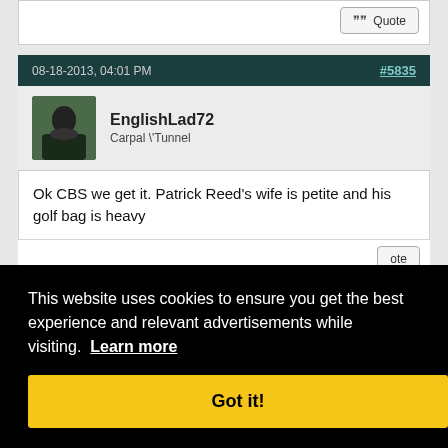[Figure (screenshot): Forum post interface showing top card with Quote button]
08-18-2013, 04:01 PM   #5835
EnglishLad72
Carpal \Tunnel
Ok CBS we get it. Patrick Reed's wife is petite and his golf bag is heavy
#5836
This website uses cookies to ensure you get the best experience and relevant advertisements while visiting.  Learn more
Got it!